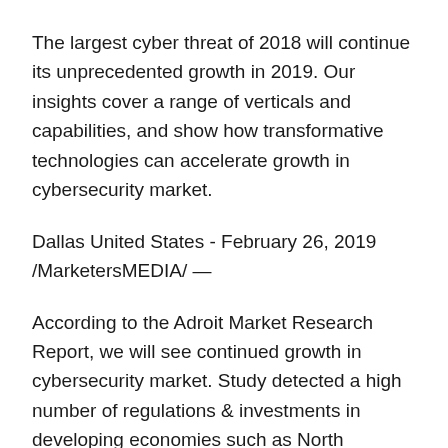The largest cyber threat of 2018 will continue its unprecedented growth in 2019. Our insights cover a range of verticals and capabilities, and show how transformative technologies can accelerate growth in cybersecurity market.
Dallas United States - February 26, 2019 /MarketersMEDIA/ —
According to the Adroit Market Research Report, we will see continued growth in cybersecurity market. Study detected a high number of regulations & investments in developing economies such as North America, Europe, Asia-Pacific, Latin America and Middle-East & Africa. North America has always